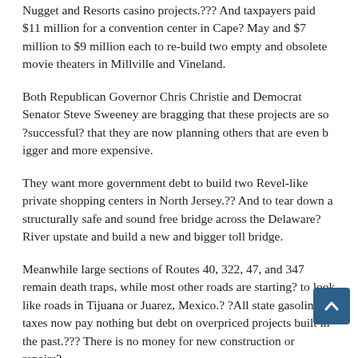Nugget and Resorts casino projects.??? And taxpayers paid $11 million for a convention center in Cape? May and $7 million to $9 million each to re-build two empty and obsolete movie theaters in Millville and Vineland.
Both Republican Governor Chris Christie and Democrat Senator Steve Sweeney are bragging that these projects are so ?successful? that they are now planning others that are even bigger and more expensive.
They want more government debt to build two Revel-like private shopping centers in North Jersey.?? And to tear down a structurally safe and sound free bridge across the Delaware? River upstate and build a new and bigger toll bridge.
Meanwhile large sections of Routes 40, 322, 47, and 347 remain death traps, while most other roads are starting? to look like roads in Tijuana or Juarez, Mexico.? ?All state gasoline taxes now pay nothing but debt on overpriced projects built in the past.??? There is no money for new construction or repairs?